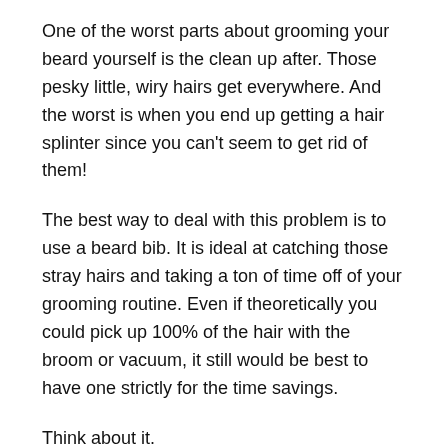One of the worst parts about grooming your beard yourself is the clean up after. Those pesky little, wiry hairs get everywhere. And the worst is when you end up getting a hair splinter since you can't seem to get rid of them!
The best way to deal with this problem is to use a beard bib. It is ideal at catching those stray hairs and taking a ton of time off of your grooming routine. Even if theoretically you could pick up 100% of the hair with the broom or vacuum, it still would be best to have one strictly for the time savings.
Think about it.
You spend time washing your beard, putting in beard oil, then brushing it and trimming it when it is long. Add cleaning up to the equation and you are looking at least 45 minutes to get this done. Now take away 10 minutes by not needing to clean up and you are reducing this grooming routine by about a third.